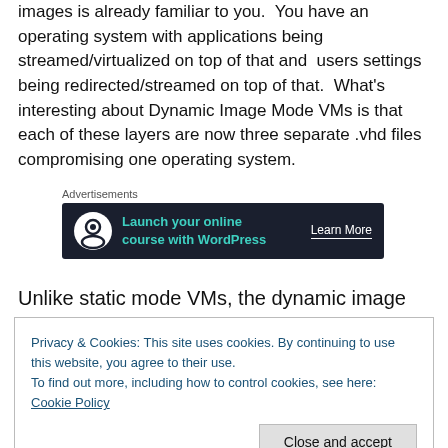images is already familiar to you.  You have an operating system with applications being streamed/virtualized on top of that and  users settings  being redirected/streamed on top of that.  What's interesting about Dynamic Image Mode VMs is that each of these layers are now three separate .vhd files compromising one operating system.
[Figure (other): Advertisement banner: dark background with logo and text 'Launch your online course with WordPress' and 'Learn More' button]
Unlike static mode VMs, the dynamic image mode OS
Privacy & Cookies: This site uses cookies. By continuing to use this website, you agree to their use.
To find out more, including how to control cookies, see here: Cookie Policy
the use of junction points.  If you are using Windows 7,